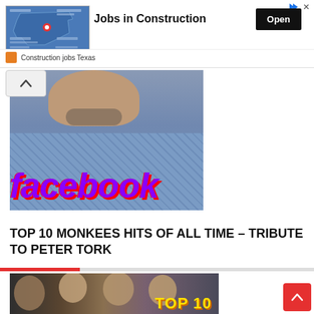[Figure (screenshot): Advertisement banner for Jobs in Construction with Texas map graphic, Open button, and Construction jobs Texas label]
[Figure (photo): Photo of a man with beard wearing blue patterned shirt, overlaid with purple italic facebook text with red shadow]
TOP 10 MONKEES HITS OF ALL TIME – TRIBUTE TO PETER TORK
[Figure (photo): Photo of The Monkees group with TOP 10 text overlay in yellow]